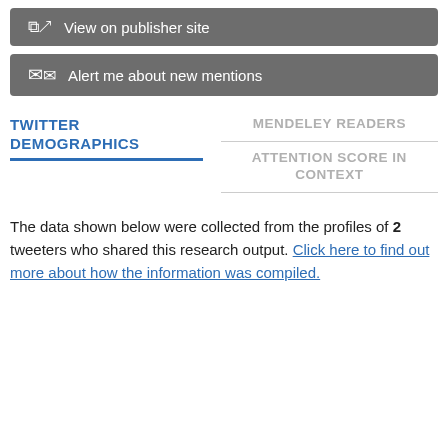View on publisher site
Alert me about new mentions
TWITTER DEMOGRAPHICS
MENDELEY READERS
ATTENTION SCORE IN CONTEXT
The data shown below were collected from the profiles of 2 tweeters who shared this research output. Click here to find out more about how the information was compiled.